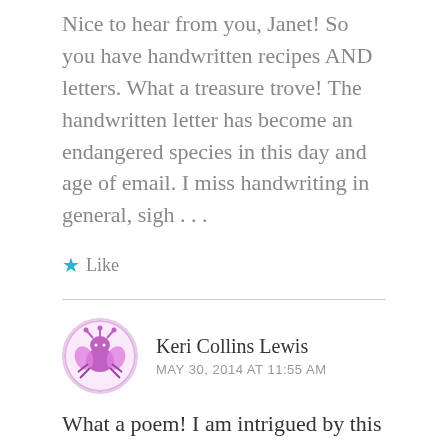Nice to hear from you, Janet! So you have handwritten recipes AND letters. What a treasure trove! The handwritten letter has become an endangered species in this day and age of email. I miss handwriting in general, sigh . . .
★ Like
[Figure (illustration): Circular avatar with pink/purple cartoon crab or butterfly illustration on light pink background with pink border]
Keri Collins Lewis
MAY 30, 2014 AT 11:55 AM
What a poem! I am intrigued by this collection. I don't have recipe cards from my mom, but a book of cards in a binder from her mother. I cherish it